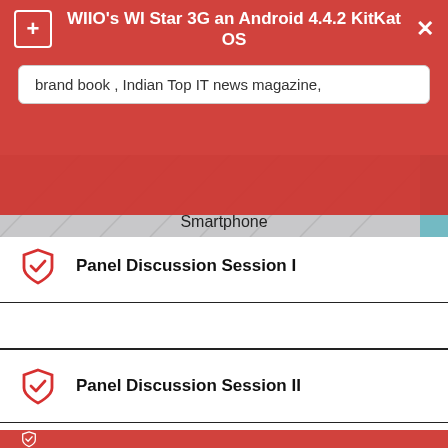WIIO's WI Star 3G an Android 4.4.2 KitKat OS
brand book , Indian Top IT news magazine,
[Figure (photo): Partially visible image of a smartphone with the label 'Smartphone']
Panel Discussion Session I
Panel Discussion Session II
Panel Discussion Session III